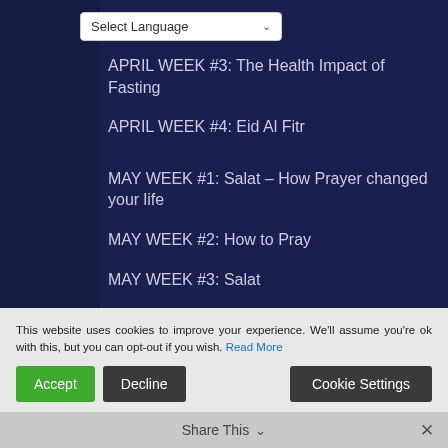[Figure (screenshot): Select Language dropdown box in top-left area]
APRIL WEEK #3: The Health Impact of Fasting
APRIL WEEK #4: Eid Al Fitr
MAY WEEK #1: Salat – How Prayer changed your life
MAY WEEK #2: How to Pray
MAY WEEK #3: Salat
MAY WEEK #4: Salat
This website uses cookies to improve your experience. We'll assume you're ok with this, but you can opt-out if you wish. Read More
Accept  Decline  Cookie Settings
Share This